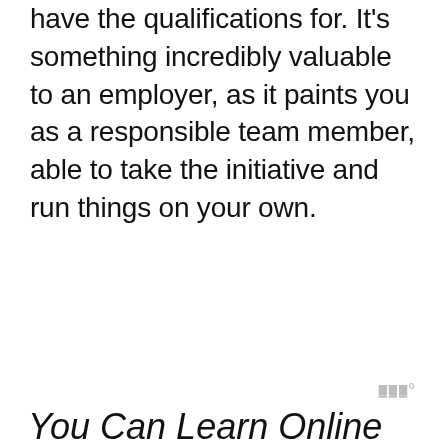have the qualifications for. It's something incredibly valuable to an employer, as it paints you as a responsible team member, able to take the initiative and run things on your own.
You Can Learn Online